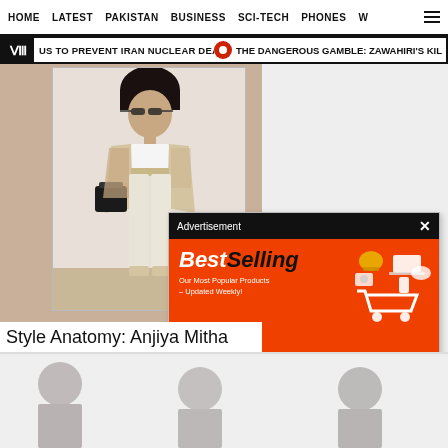HOME  LATEST  PAKISTAN  BUSINESS  SCI-TECH  PHONES  W
US TO PREVENT IRAN NUCLEAR DEAL  •  THE DANGEROUS GAMBLE: ZAWAHIRI'S KIL
[Figure (photo): Woman in beige blazer, white crop top, white wide-leg pants and platform sandals, holding a black handbag, posed against a light wall]
Style Anatomy: Anjiya Mitha
[Figure (photo): Bottom article image showing multiple people, partially visible, on light background]
[Figure (infographic): AliExpress advertisement banner: BestSelling - Our Most Popular Products - Updated Weekly! with shopping cart icon, orange background, Shop Now button]